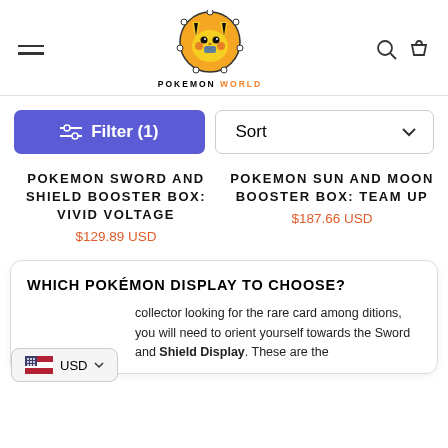[Figure (logo): Pokemon World logo — Pikachu illustration inside orange circle with 'POKEMON WORLD' text below]
Filter (1)
Sort
POKEMON SWORD AND SHIELD BOOSTER BOX: VIVID VOLTAGE
$129.89 USD
POKEMON SUN AND MOON BOOSTER BOX: TEAM UP
$187.66 USD
WHICH POKÉMON DISPLAY TO CHOOSE?
collector looking for the rare card among ditions, you will need to orient yourself towards the Sword and Shield Display. These are the